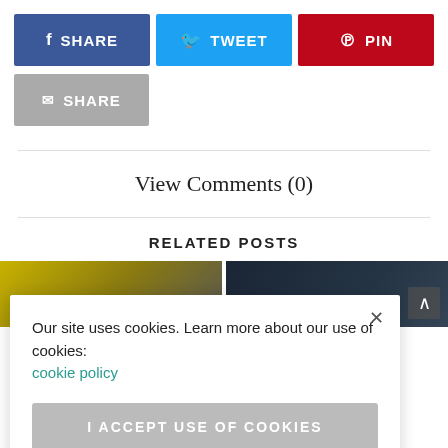[Figure (screenshot): Social share buttons row: Facebook SHARE (dark blue), Twitter TWEET (light blue), Pinterest PIN (red)]
[Figure (screenshot): Email share button: gray SHARE button with envelope icon]
View Comments (0)
RELATED POSTS
[Figure (photo): Two related post thumbnail images side by side]
Our site uses cookies. Learn more about our use of cookies: cookie policy
I ACCEPT USE OF COOKIES